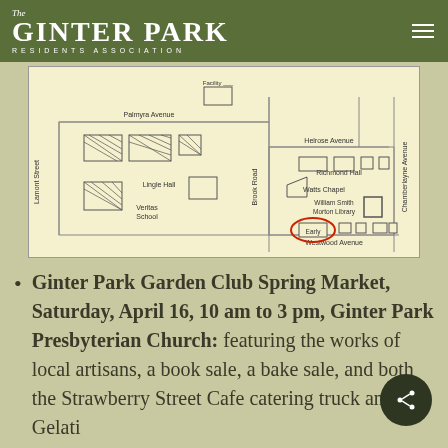The Ginter Park Residents Association
[Figure (map): Campus map showing Palmyra Avenue, Lamont Street, Brook Road, Helrose Avenue, Chamberlayne Avenue, Westwood Avenue with buildings: Lingle Hall, Veritas School, Watts Chapel, Richmond Hall, William Smith Morton Library, and Early building circled in red.]
Ginter Park Garden Club Spring Market, Saturday, April 16, 10 am to 3 pm, Ginter Park Presbyterian Church: featuring the works of local artisans, a book sale, a bake sale, and both the Strawberry Street Cafe catering truck and Gelati